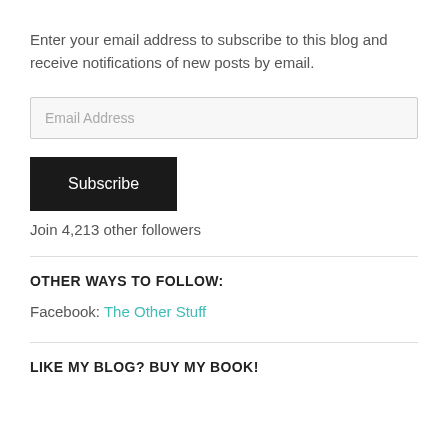Enter your email address to subscribe to this blog and receive notifications of new posts by email.
Email Address
Subscribe
Join 4,213 other followers
OTHER WAYS TO FOLLOW:
Facebook: The Other Stuff
LIKE MY BLOG? BUY MY BOOK!